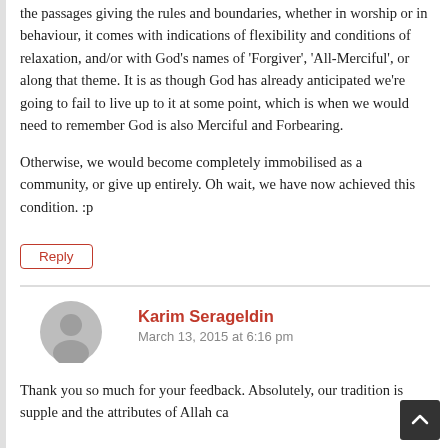the passages giving the rules and boundaries, whether in worship or in behaviour, it comes with indications of flexibility and conditions of relaxation, and/or with God's names of 'Forgiver', 'All-Merciful', or along that theme. It is as though God has already anticipated we're going to fail to live up to it at some point, which is when we would need to remember God is also Merciful and Forbearing.
Otherwise, we would become completely immobilised as a community, or give up entirely. Oh wait, we have now achieved this condition. :p
Reply
Karim Serageldin
March 13, 2015 at 6:16 pm
Thank you so much for your feedback. Absolutely, our tradition is supple and the attributes of Allah ca